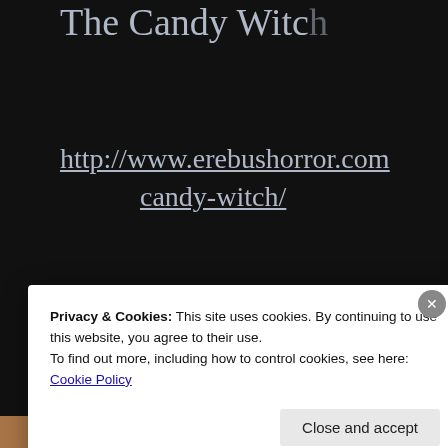The Candy Witch
http://www.erebushorror.com/candy-witch/
Come join us at o
Privacy & Cookies: This site uses cookies. By continuing to use this website, you agree to their use.
To find out more, including how to control cookies, see here: Cookie Policy
Close and accept